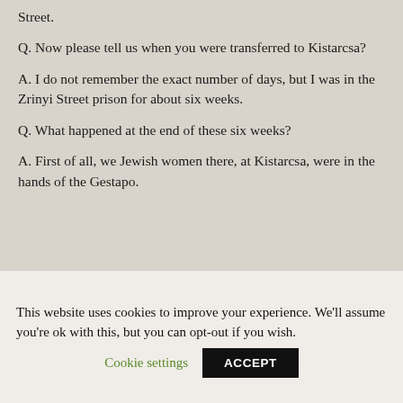Street.
Q. Now please tell us when you were transferred to Kistarcsa?
A. I do not remember the exact number of days, but I was in the Zrinyi Street prison for about six weeks.
Q. What happened at the end of these six weeks?
A. First of all, we Jewish women there, at Kistarcsa, were in the hands of the Gestapo.
This website uses cookies to improve your experience. We'll assume you're ok with this, but you can opt-out if you wish.
Cookie settings
ACCEPT